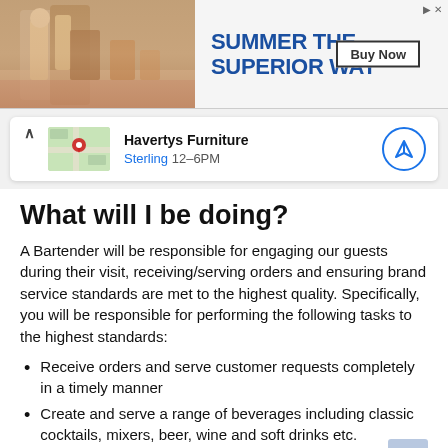[Figure (photo): Advertisement banner: photo of person with drinks on the left, text 'SUMMER THE SUPERIOR WAY' in blue bold font on the right with a 'Buy Now' button]
[Figure (other): Map card showing Havertys Furniture location in Sterling with hours 12-6PM and a navigation button]
What will I be doing?
A Bartender will be responsible for engaging our guests during their visit, receiving/serving orders and ensuring brand service standards are met to the highest quality. Specifically, you will be responsible for performing the following tasks to the highest standards:
Receive orders and serve customer requests completely in a timely manner
Create and serve a range of beverages including classic cocktails, mixers, beer, wine and soft drinks etc.
Take food orders and assist the floor team with deliveries as required